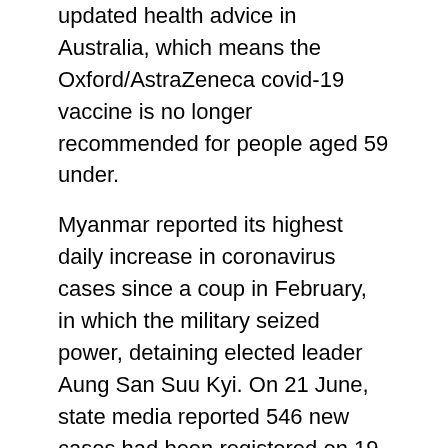updated health advice in Australia, which means the Oxford/AstraZeneca covid-19 vaccine is no longer recommended for people aged 59 under.
Myanmar reported its highest daily increase in coronavirus cases since a coup in February, in which the military seized power, detaining elected leader Aung San Suu Kyi. On 21 June, state media reported 546 new cases had been registered on 19 June, which is thought to be the highest daily increase since 1 February.
Coronavirus deaths
The worldwide covid-19 death toll has passed 3.86 million. The number of confirmed cases is more than 178.5 million, according to Johns Hopkins University, though the true number of cases will be much higher. According to Our World In Data, more than 1.7 billion people globally have received at least one dose of a covid-19 vaccine.